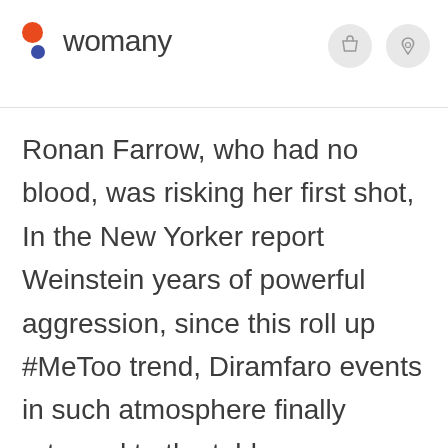womany
Ronan Farrow, who had no blood, was risking her first shot, In the New Yorker report Weinstein years of powerful aggression, since this roll up #MeToo trend, Diramfaro events in such atmosphere finally returned to the table, was discussed.